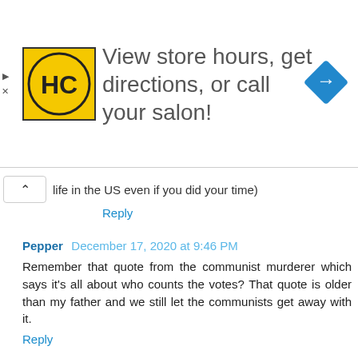[Figure (infographic): Advertisement banner: HC logo (yellow circle with HC text), text 'View store hours, get directions, or call your salon!', blue diamond navigation icon on the right.]
life in the US even if you did your time)
Reply
Pepper  December 17, 2020 at 9:46 PM
Remember that quote from the communist murderer which says it's all about who counts the votes? That quote is older than my father and we still let the communists get away with it.
Reply
Shack  December 17, 2020 at 10:08 PM
I'm sorry, but...really?
"An intel source told me President Trump did, in fact, win